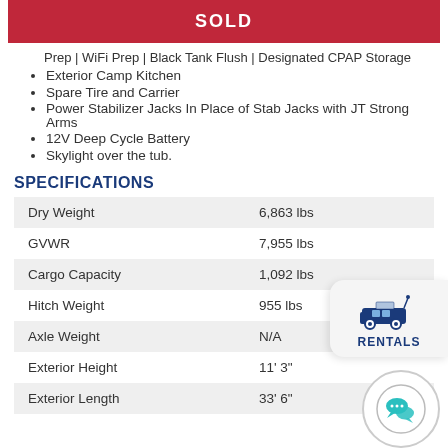SOLD
Prep | WiFi Prep | Black Tank Flush | Designated CPAP Storage
Exterior Camp Kitchen
Spare Tire and Carrier
Power Stabilizer Jacks In Place of Stab Jacks with JT Strong Arms
12V Deep Cycle Battery
Skylight over the tub.
SPECIFICATIONS
|  |  |
| --- | --- |
| Dry Weight | 6,863 lbs |
| GVWR | 7,955 lbs |
| Cargo Capacity | 1,092 lbs |
| Hitch Weight | 955 lbs |
| Axle Weight | N/A |
| Exterior Height | 11' 3" |
| Exterior Length | 33' 6" |
[Figure (logo): RENTALS badge with RV icon]
[Figure (logo): Chat bubble icon in circle]